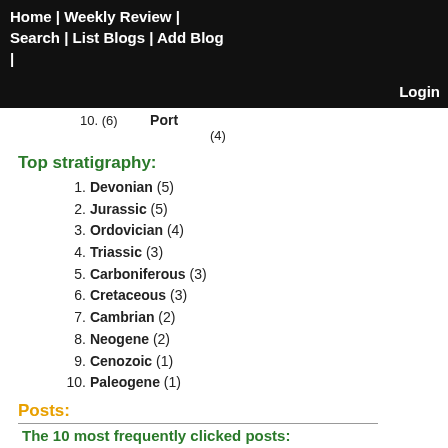Home | Weekly Review | Search | List Blogs | Add Blog | Login
10. (6) Port (4)
Top stratigraphy:
1. Devonian (5)
2. Jurassic (5)
3. Ordovician (4)
4. Triassic (3)
5. Carboniferous (3)
6. Cretaceous (3)
7. Cambrian (2)
8. Neogene (2)
9. Cenozoic (1)
10. Paleogene (1)
Posts:
The 10 most frequently clicked posts:
I am a pilot
Astronaut for Hire [2012-08-04 10:43:00] recommend this post (600 visits)
With the Olympics currently unfolding, we are reminded how athletes train very hard for their one chance at nailing a